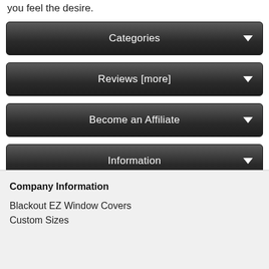you feel the desire.
Categories
Reviews  [more]
Become an Affiliate
Information
Company Information
Blackout EZ Window Covers
Custom Sizes